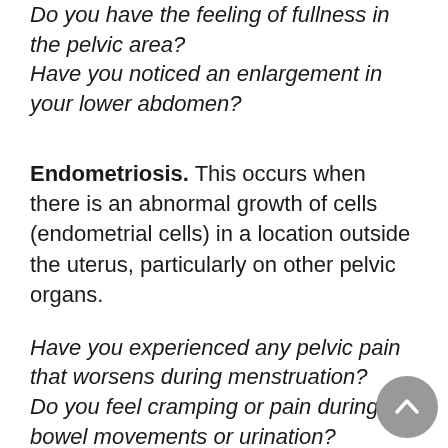Do you have the feeling of fullness in the pelvic area?
Have you noticed an enlargement in your lower abdomen?
Endometriosis. This occurs when there is an abnormal growth of cells (endometrial cells) in a location outside the uterus, particularly on other pelvic organs.
Have you experienced any pelvic pain that worsens during menstruation?
Do you feel cramping or pain during bowel movements or urination?
Do you experience pain after sex?